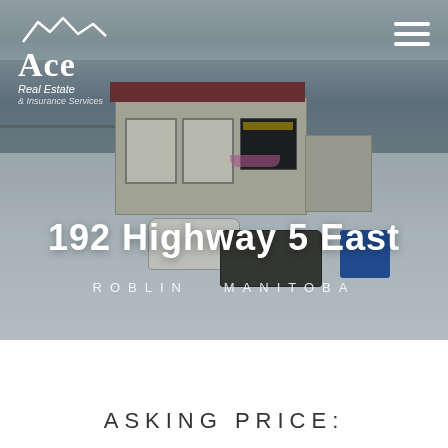[Figure (photo): Aerial drone photo of a commercial auto service shop building with red trim and garage doors, surrounded by snow-covered ground, with two vehicles parked in front. Winter scene in Roblin, Manitoba.]
192 Highway 5 East
ROBLIN  MANITOBA
ASKING PRICE: